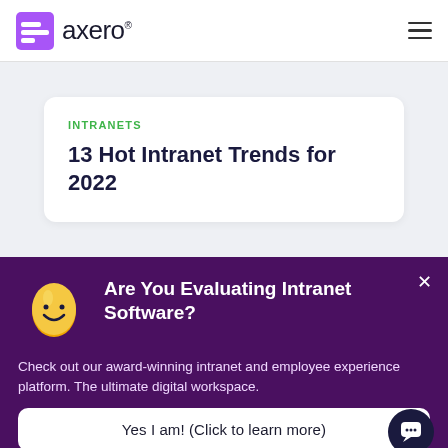axero
INTRANETS
13 Hot Intranet Trends for 2022
Are You Evaluating Intranet Software?
Check out our award-winning intranet and employee experience platform. The ultimate digital workspace.
Yes I am! (Click to learn more)